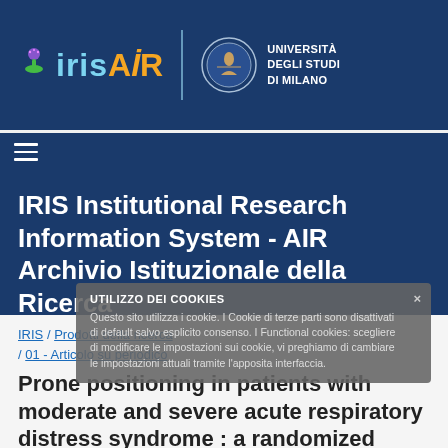[Figure (logo): IRIS AIR logo with colorful eye icon on dark blue background, and Università degli Studi di Milano logo with university seal]
IRIS Institutional Research Information System - AIR Archivio Istituzionale della Ricerca
IRIS / Prodotti della ricerca / 01 - Articolo su periodico
UTILIZZO DEI COOKIES
Questo sito utilizza i cookie. I Cookie di terze parti sono disattivati di default salvo esplicito consenso. I Functional cookies: scegliere di modificare le impostazioni sui cookie, vi preghiamo di cambiare le impostazioni attuali tramite l'apposita interfaccia.
Prone positioning in patients with moderate and severe acute respiratory distress syndrome : a randomized controlled trial